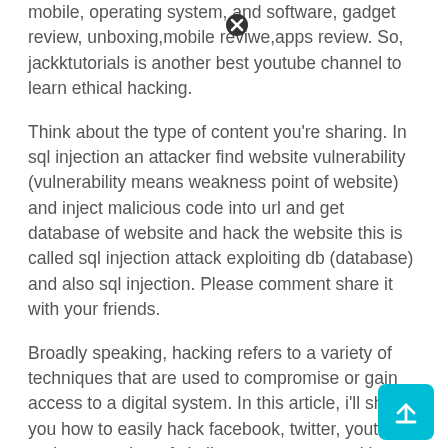mobile, operating system, and software, gadget review, unboxing,mobile reviwe,apps review. So, jackktutorials is another best youtube channel to learn ethical hacking.
Think about the type of content you're sharing. In sql injection an attacker find website vulnerability (vulnerability means weakness point of website) and inject malicious code into url and get database of website and hack the website this is called sql injection attack exploiting db (database) and also sql injection. Please comment share it with your friends.
Broadly speaking, hacking refers to a variety of techniques that are used to compromise or gain access to a digital system. In this article, i'll show you how to easily hack facebook, twitter, youtube, and any number of similar account types with an android app called faceniff. This is